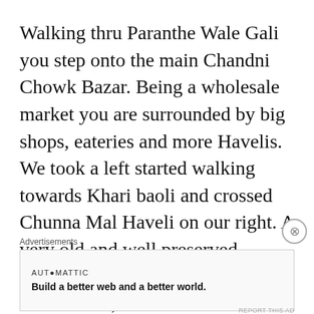Walking thru Paranthe Wale Gali you step onto the main Chandni Chowk Bazar. Being a wholesale market you are surrounded by big shops, eateries and more Havelis. We took a left started walking towards Khari baoli and crossed Chunna Mal Haveli on our right. A very old and well preserved Haveli of a very wealthy merchant of his times, who was brave enough to refuse a loan to
Advertisements
AUTOMATTIC
Build a better web and a better world.